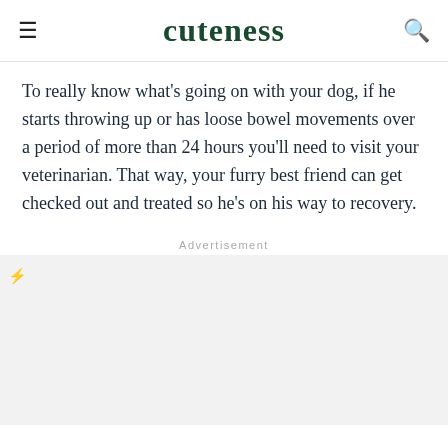cuteness
To really know what's going on with your dog, if he starts throwing up or has loose bowel movements over a period of more than 24 hours you'll need to visit your veterinarian. That way, your furry best friend can get checked out and treated so he's on his way to recovery.
Advertisement
[Figure (other): Advertisement placeholder area with an orange lightning bolt icon in the top-left corner]